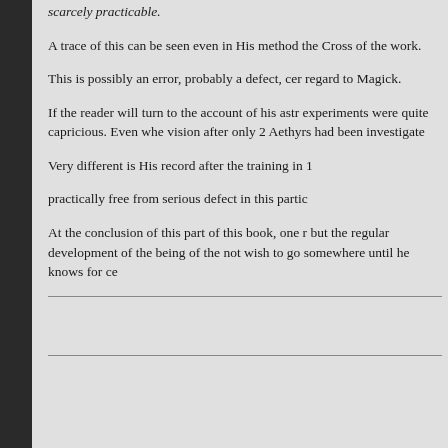scarcely practicable.
A trace of this can be seen even in His method the Cross of the work.
This is possibly an error, probably a defect, cer regard to Magick.
If the reader will turn to the account of his astr experiments were quite capricious. Even whe vision after only 2 Aethyrs had been investigate
Very different is His record after the training in 1
practically free from serious defect in this partic
At the conclusion of this part of this book, one r but the regular development of the being of the not wish to go somewhere until he knows for ce